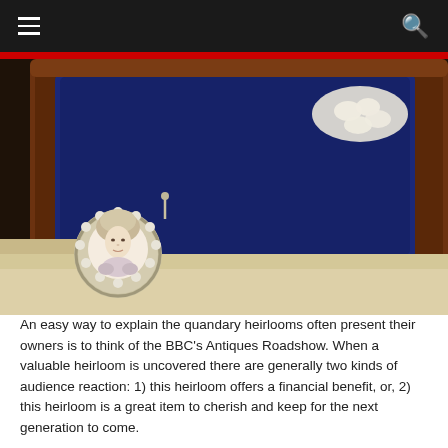≡  🔍
[Figure (photo): Close-up photograph of an antique jewellery brooch featuring a miniature portrait of an 18th-century woman surrounded by diamonds, resting on a cream surface next to an open brown leather jewellery box lined with dark blue velvet, with a diamond cluster jewel visible in the upper right corner of the box.]
An easy way to explain the quandary heirlooms often present their owners is to think of the BBC's Antiques Roadshow. When a valuable heirloom is uncovered there are generally two kinds of audience reaction: 1) this heirloom offers a financial benefit, or, 2) this heirloom is a great item to cherish and keep for the next generation to come.
Our expert, Robert Ogden from Richard Ogden Jewellery, reveals what heirlooms mean to different people. He explains that whether you consider them a gift or a curse, it is